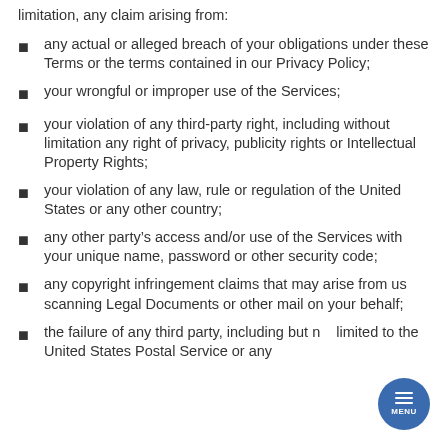limitation, any claim arising from:
any actual or alleged breach of your obligations under these Terms or the terms contained in our Privacy Policy;
your wrongful or improper use of the Services;
your violation of any third-party right, including without limitation any right of privacy, publicity rights or Intellectual Property Rights;
your violation of any law, rule or regulation of the United States or any other country;
any other party's access and/or use of the Services with your unique name, password or other security code;
any copyright infringement claims that may arise from us scanning Legal Documents or other mail on your behalf;
the failure of any third party, including but not limited to the United States Postal Service or any